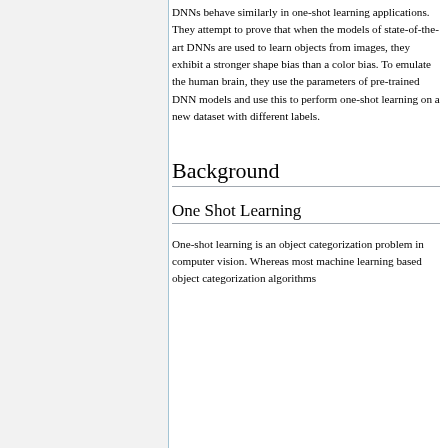DNNs behave similarly in one-shot learning applications. They attempt to prove that when the models of state-of-the-art DNNs are used to learn objects from images, they exhibit a stronger shape bias than a color bias. To emulate the human brain, they use the parameters of pre-trained DNN models and use this to perform one-shot learning on a new dataset with different labels.
Background
One Shot Learning
One-shot learning is an object categorization problem in computer vision. Whereas most machine learning based object categorization algorithms